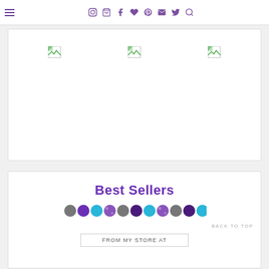Navigation bar with hamburger menu and social/utility icons
[Figure (screenshot): White card area with three broken image placeholders arranged horizontally]
Best Sellers
[Figure (infographic): Row of colored dots: grey, purple, cyan, speckled purple, grey, dark purple, cyan, speckled purple, grey, dark purple, cyan partial]
BACK TO TOP
FROM MY STORE AT